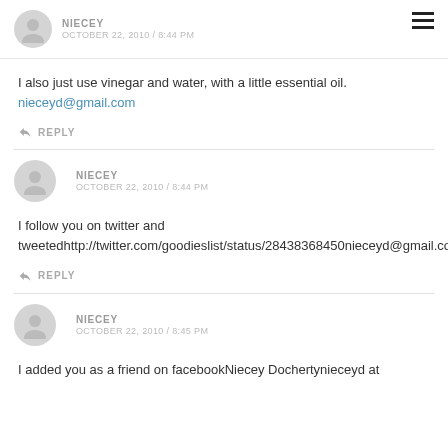NIECEY OCTOBER 22, 2010 / 8:44 PM
I also just use vinegar and water, with a little essential oil.
nieceyd@gmail.com
↩ REPLY
NIECEY OCTOBER 22, 2010 / 8:44 PM
I follow you on twitter and tweetedhttp://twitter.com/goodieslist/status/28438368450nieceyd@gmail.co
↩ REPLY
NIECEY OCTOBER 22, 2010 / 8:45 PM
I added you as a friend on facebookNiecey Dochertynieceyd at